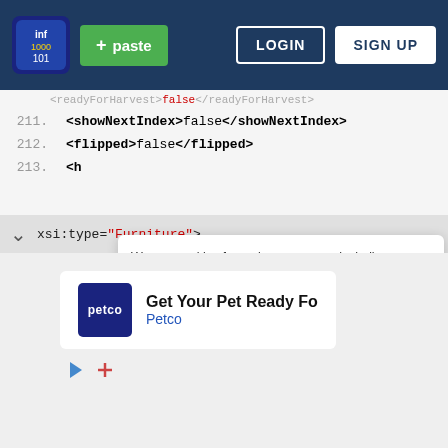[Figure (screenshot): Pastebin website screenshot showing navigation bar with logo, paste button, login and sign up buttons, XML code viewer with line numbers 211-216, cookie consent banner, and signup prompt banner. Bottom shows a Petco advertisement.]
<readyForHarvest>false</readyForHarvest>
211.
<showNextIndex>false</showNextIndex>
212.
<flipped>false</flipped>
213.
<h  ...  u
214.
<i
We use cookies for various purposes including analytics. By continuing to use Pastebin, you agree to our use of cookies as described in the Cookies Policy.
OK, I Understand
215.
<i
Not a member of Pastebin yet? Sign Up, it unlocks many cool features!
216.
xsi:type="Furniture">
[Figure (logo): Petco logo with blue background and petco text]
Get Your Pet Ready Fo  Petco